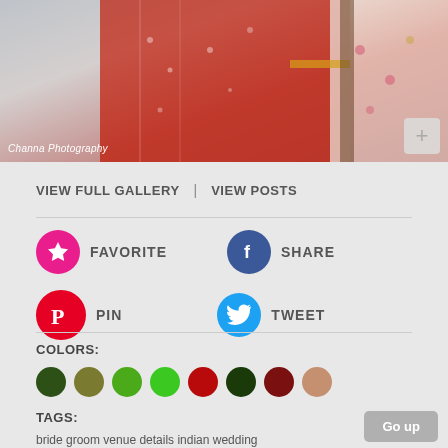[Figure (photo): Photo banner of people in Indian wedding attire, red and floral outfits. Credit: Channa Photography]
VIEW FULL GALLERY  |  VIEW POSTS
FAVORITE
SHARE
PIN
TWEET
COLORS:
TAGS:
bride groom venue details indian wedding